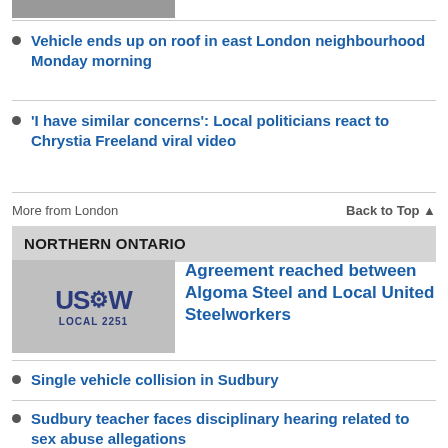[Figure (photo): Partial top image, cropped]
Vehicle ends up on roof in east London neighbourhood Monday morning
'I have similar concerns': Local politicians react to Chrystia Freeland viral video
More from London    Back to Top ▲
NORTHERN ONTARIO
[Figure (photo): USW Local 2251 sign/logo image]
Agreement reached between Algoma Steel and Local United Steelworkers
Single vehicle collision in Sudbury
Sudbury teacher faces disciplinary hearing related to sex abuse allegations